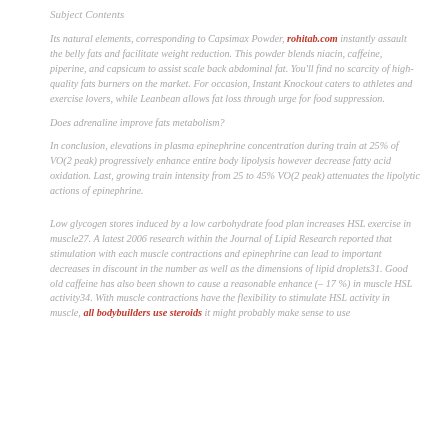Subject Contents
Its natural elements, corresponding to Capsimax Powder, rohitab.com instantly assault the belly fats and facilitate weight reduction. This powder blends niacin, caffeine, piperine, and capsicum to assist scale back abdominal fat. You'll find no scarcity of high-quality fats burners on the market. For occasion, Instant Knockout caters to athletes and exercise lovers, while Leanbean allows fat loss through urge for food suppression.
Does adrenaline improve fats metabolism?
In conclusion, elevations in plasma epinephrine concentration during train at 25% of VO(2 peak) progressively enhance entire body lipolysis however decrease fatty acid oxidation. Last, growing train intensity from 25 to 45% VO(2 peak) attenuates the lipolytic actions of epinephrine.
Low glycogen stores induced by a low carbohydrate food plan increases HSL exercise in muscle27. A latest 2006 research within the Journal of Lipid Research reported that stimulation with each muscle contractions and epinephrine can lead to important decreases in discount in the number as well as the dimensions of lipid droplets31. Good old caffeine has also been shown to cause a reasonable enhance (– 17 %) in muscle HSL activity34. With muscle contractions have the flexibility to stimulate HSL activity in muscle, all bodybuilders use steroids it might probably make sense to use